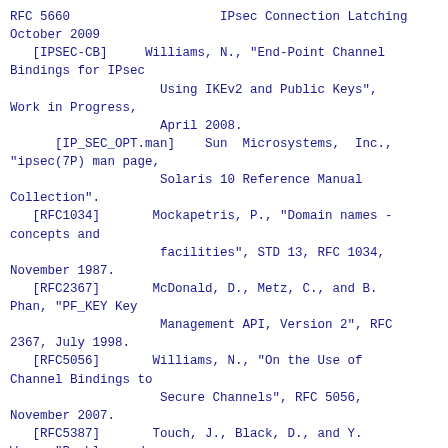RFC 5660                    IPsec Connection Latching
October 2009
[IPSEC-CB]     Williams, N., "End-Point Channel
   Bindings for IPsec
                    Using IKEv2 and Public Keys",
   Work in Progress,
                    April 2008.
      [IP_SEC_OPT.man]    Sun  Microsystems,  Inc.,
   "ipsec(7P) man page,
                    Solaris 10 Reference Manual
   Collection".
      [RFC1034]       Mockapetris, P., "Domain names -
   concepts and
                    facilities", STD 13, RFC 1034,
   November 1987.
      [RFC2367]       McDonald, D., Metz, C., and B.
   Phan, "PF_KEY Key
                    Management API, Version 2", RFC
   2367, July 1998.
      [RFC5056]       Williams, N., "On the Use of
   Channel Bindings to
                    Secure Channels", RFC 5056,
   November 2007.
      [RFC5387]       Touch, J., Black, D., and Y.
   Wang, "Problem and
                    Applicability Statement for
   Better-Than-Nothing
                    Security (BTNS)", RFC 5387,
   November 2008.
      [RFC5406]       Bellovin, S., "Guidelines for